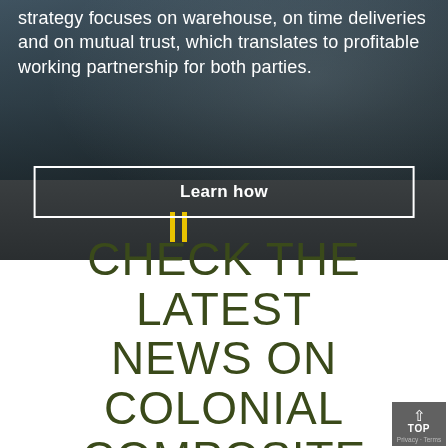strategy focuses on warehouse, on time deliveries and on mutual trust, which translates to profitable working partnership for both parties.
[Figure (photo): Truck on a highway road with mountains in background, dark overlay]
Learn how
CHECK THE LATEST NEWS ON COLONIAL COMPOSITE